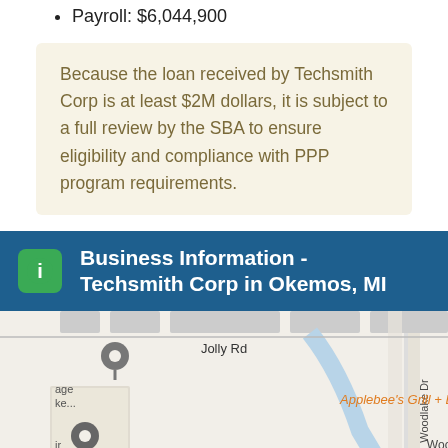Payroll: $6,044,900
Because the loan received by Techsmith Corp is at least $2M dollars, it is subject to a full review by the SBA to ensure eligibility and compliance with PPP program requirements.
Business Information - Techsmith Corp in Okemos, MI
[Figure (map): Street map showing area near Techsmith Corp in Okemos, MI. Shows Jolly Rd at top, Woodlake Dr running vertically, Woodlake Dr label horizontally, location pins visible on left side. Applebee's Grill + Ba label visible in orange on right, Cracker Barrel Old Country Store label visible in orange lower right.]